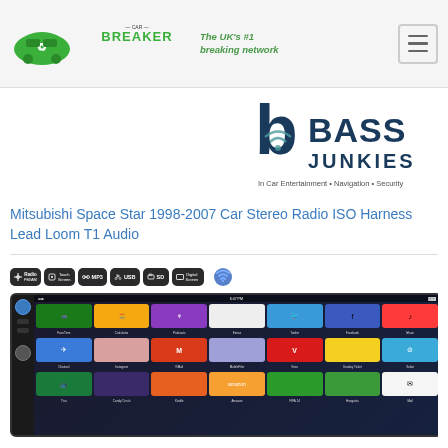Car Breaker — The UK's #1 breaking network
[Figure (logo): Bass Junkies logo — In Car Entertainment • Navigation • Security]
Mitsubishi Space Star 1998-2007 Car Stereo Radio ISO Harness Lead Loom T1 Audio
[Figure (photo): Car stereo head unit showing touchscreen with smartphone interface displaying iOS-style app grid. Feature icons bar shows Radio FM/AM, Touch Screen, MP3, USB, SD, Digital Screen, WiFi.]